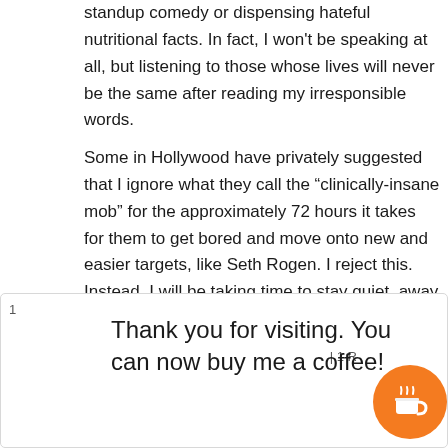standup comedy or dispensing hateful nutritional facts. In fact, I won't be speaking at all, but listening to those whose lives will never be the same after reading my irresponsible words.
Some in Hollywood have privately suggested that I ignore what they call the “clinically-insane mob” for the approximately 72 hours it takes for them to get bored and move onto new and easier targets, like Seth Rogen. I reject this. Instead, I will be taking time to stay quiet, away from social media, and refraining from all press interviews. If and when I return to public life it will only be after I have listened, learned and atoned.
Some will say that I don’t deserve the opportunity at redemption, let alone resumption of my weekly gig emceeing New Material Mondays at the Chuckle Hut in Garden Grove.
Thank you for visiting. You can now buy me a coffee!